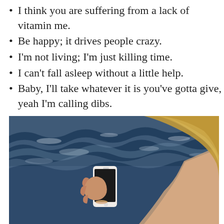I think you are suffering from a lack of vitamin me.
Be happy; it drives people crazy.
I'm not living; I'm just killing time.
I can't fall asleep without a little help.
Baby, I'll take whatever it is you've gotta give, yeah I'm calling dibs.
Two great tastes that taste great together.
[Figure (photo): Woman seen from behind with blonde hair, holding a smartphone, with dark blue choppy ocean waves in the background.]